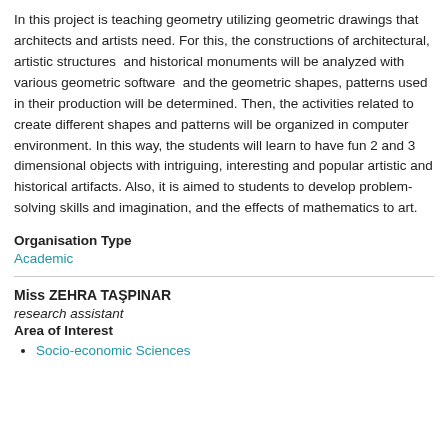In this project is teaching geometry utilizing geometric drawings that architects and artists need. For this, the constructions of architectural, artistic structures  and historical monuments will be analyzed with various geometric software  and the geometric shapes, patterns used in their production will be determined. Then, the activities related to create different shapes and patterns will be organized in computer environment. In this way, the students will learn to have fun 2 and 3 dimensional objects with intriguing, interesting and popular artistic and historical artifacts. Also, it is aimed to students to develop problem-solving skills and imagination, and the effects of mathematics to art.
Organisation Type
Academic
Miss ZEHRA TAŞPINAR
research assistant
Area of Interest
Socio-economic Sciences